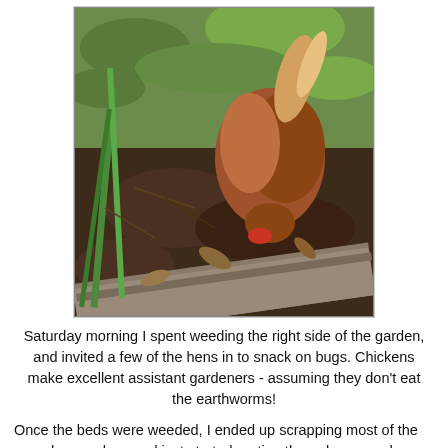[Figure (photo): A brown/red chicken pecking at the ground in a garden bed, with green grass and plants visible, alongside a wooden raised bed border.]
Saturday morning I spent weeding the right side of the garden, and invited a few of the hens in to snack on bugs. Chickens make excellent assistant gardeners - assuming they don't eat the earthworms!
Once the beds were weeded, I ended up scrapping most of the greenhouse plans and just started rooting through my seed packets and planting what I had. But more on that later